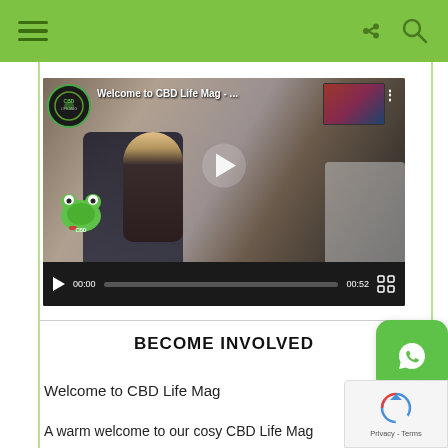Navigation bar with hamburger menu, share icon, and search icon
[Figure (screenshot): Video thumbnail showing a woman sitting in a leather armchair holding a teacup, with text 'Welcome to CBD Life Mag - ...' at the top, CBD frog logo in the corners, a play button in the center, and video controls (00:00 / 00:52) at the bottom]
BECOME INVOLVED
Welcome to CBD Life Mag
A warm welcome to our cosy CBD Life Mag